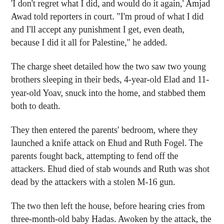'I don't regret what I did, and would do it again,' Amjad Awad told reporters in court. "I'm proud of what I did and I'll accept any punishment I get, even death, because I did it all for Palestine," he added.
The charge sheet detailed how the two saw two young brothers sleeping in their beds, 4-year-old Elad and 11-year-old Yoav, snuck into the home, and stabbed them both to death.
They then entered the parents' bedroom, where they launched a knife attack on Ehud and Ruth Fogel. The parents fought back, attempting to fend off the attackers. Ehud died of stab wounds and Ruth was shot dead by the attackers with a stolen M-16 gun.
The two then left the house, before hearing cries from three-month-old baby Hadas. Awoken by the attack, the baby lay in its crib in the parents' bedroom.